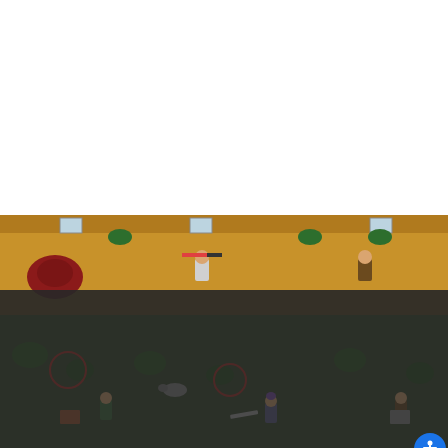[Figure (screenshot): A browser screenshot showing a video player with a media error message overlaid on a 2D top-down game (Rimworld-style). The error reads: 'The media could not be loaded, either because the server or network failed or because the format is not supported.' An ad overlay shows 'IQ TEST: FIND THE Fails & Epic Wins! #1477'. A large X (broken video icon) appears below. An accessibility button (blue circle with person icon) is in the upper right corner of the game area.]